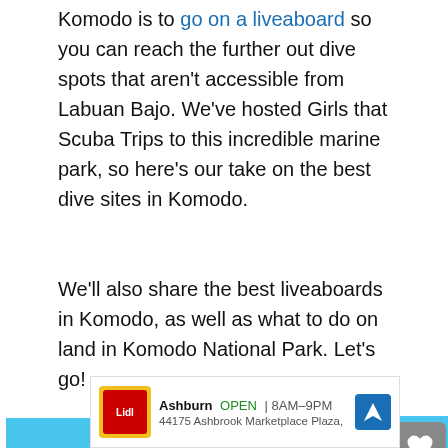Komodo is to go on a liveaboard so you can reach the further out dive spots that aren't accessible from Labuan Bajo. We've hosted Girls that Scuba Trips to this incredible marine park, so here's our take on the best dive sites in Komodo.
We'll also share the best liveaboards in Komodo, as well as what to do on land in Komodo National Park. Let's go!
[Figure (screenshot): Advertisement banner: blue and pink color blocks with bold text 'We stand with you.' and a close button X in the top right corner]
[Figure (screenshot): Gray rounded button with heart icon on right side]
[Figure (screenshot): White rounded share button with arrow/share icon on right side]
[Figure (screenshot): Bottom advertisement: Ashburn OPEN 8AM-9PM, 44175 Ashbrook Marketplace Plaza, with Lidl logo, navigation arrow icon, and close X button]